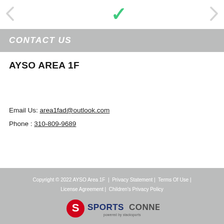[Figure (logo): Partial navigation arrows and green checkmark logo at top]
CONTACT US
AYSO AREA 1F
Email Us: area1fad@outlook.com
Phone : 310-809-9689
Copyright © 2022 AYSO Area 1F  |  Privacy Statement |  Terms Of Use |  License Agreement |  Children's Privacy Policy
[Figure (logo): Sports Connect powered by stack sports logo]